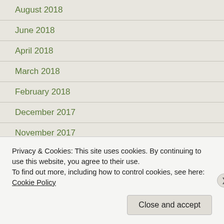August 2018
June 2018
April 2018
March 2018
February 2018
December 2017
November 2017
October 2017
September 2017
August 2017
Privacy & Cookies: This site uses cookies. By continuing to use this website, you agree to their use.
To find out more, including how to control cookies, see here: Cookie Policy